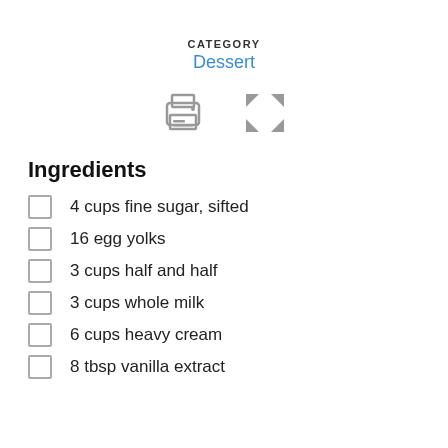CATEGORY
Dessert
[Figure (other): Print icon and fullscreen/expand icon in gray]
Ingredients
4 cups fine sugar, sifted
16 egg yolks
3 cups half and half
3 cups whole milk
6 cups heavy cream
8 tbsp vanilla extract